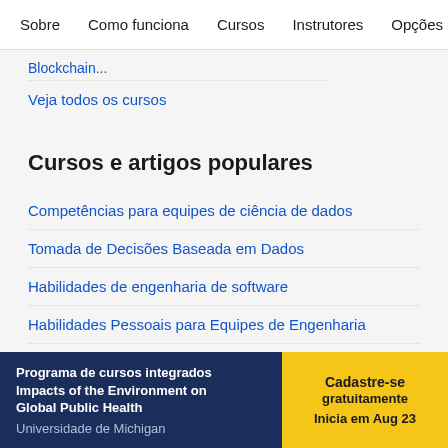Sobre | Como funciona | Cursos | Instrutores | Opções de
Blockchain...
Veja todos os cursos
Cursos e artigos populares
Competências para equipes de ciência de dados
Tomada de Decisões Baseada em Dados
Habilidades de engenharia de software
Habilidades Pessoais para Equipes de Engenharia
Programa de cursos integrados Impacts of the Environment on Global Public Health
Universidade de Michigan
Cadastre-se gratuitamente
Inicia em Aug 23